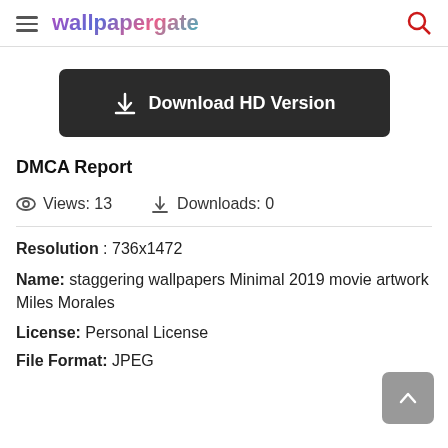wallpapergate
Download HD Version
DMCA Report
Views: 13   Downloads: 0
Resolution : 736x1472
Name: staggering wallpapers Minimal 2019 movie artwork Miles Morales
License: Personal License
File Format: JPEG